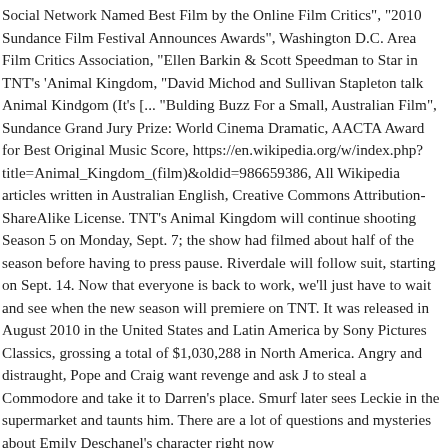Social Network Named Best Film by the Online Film Critics", "2010 Sundance Film Festival Announces Awards", Washington D.C. Area Film Critics Association, "Ellen Barkin & Scott Speedman to Star in TNT's 'Animal Kingdom, "David Michod and Sullivan Stapleton talk Animal Kindgom (It's [... "Bulding Buzz For a Small, Australian Film", Sundance Grand Jury Prize: World Cinema Dramatic, AACTA Award for Best Original Music Score, https://en.wikipedia.org/w/index.php?title=Animal_Kingdom_(film)&oldid=986659386, All Wikipedia articles written in Australian English, Creative Commons Attribution-ShareAlike License. TNT's Animal Kingdom will continue shooting Season 5 on Monday, Sept. 7; the show had filmed about half of the season before having to press pause. Riverdale will follow suit, starting on Sept. 14. Now that everyone is back to work, we'll just have to wait and see when the new season will premiere on TNT. It was released in August 2010 in the United States and Latin America by Sony Pictures Classics, grossing a total of $1,030,288 in North America. Angry and distraught, Pope and Craig want revenge and ask J to steal a Commodore and take it to Darren's place. Smurf later sees Leckie in the supermarket and taunts him. There are a lot of questions and mysteries about Emily Deschanel's character right now